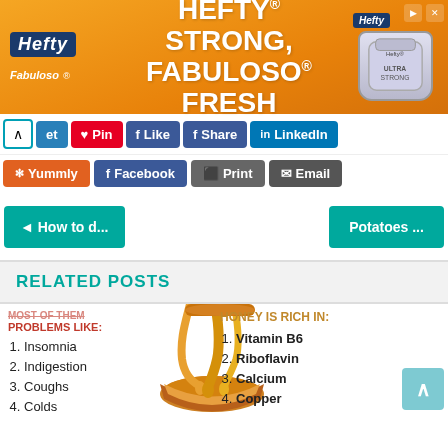[Figure (infographic): Hefty Strong, Fabuloso Fresh advertisement banner with orange gradient background showing Hefty and Fabuloso logos with product image]
Pin
Like
Share
LinkedIn
Yummly
Facebook
Print
Email
◄ How to d...
Potatoes ...
RELATED POSTS
[Figure (infographic): Health problems list and honey nutrition infographic with honey dripping image. Left side: PROBLEMS LIKE: 1. Insomnia 2. Indigestion 3. Coughs 4. Colds 5. Headaches. Right side: HONEY IS RICH IN: 1. Vitamin B6 2. Riboflavin 3. Calcium 4. Copper]